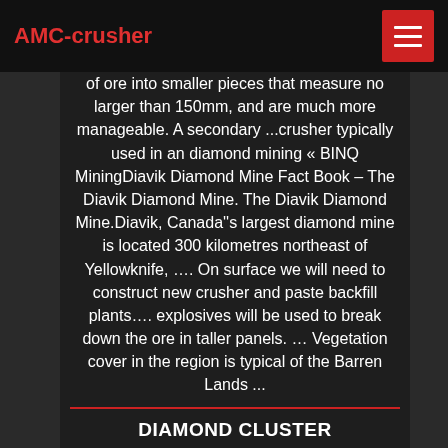AMC-crusher
of ore into smaller pieces that measure no larger than 150mm, and are much more manageable. A secondary ...crusher typically used in an diamond mining « BINQ MiningDiavik Diamond Mine Fact Book – The Diavik Diamond Mine. The Diavik Diamond Mine.Diavik, Canada''s largest diamond mine is located 300 kilometres northeast of Yellowknife, …. On surface we will need to construct new crusher and paste backfill plants…. explosives will be used to break down the ore in taller panels. … Vegetation cover in the region is typical of the Barren Lands ...
DIAMOND CLUSTER
2018-10-29 · Diamond Cluster. A tiny dish containing a small cluster of Diamond Roe.